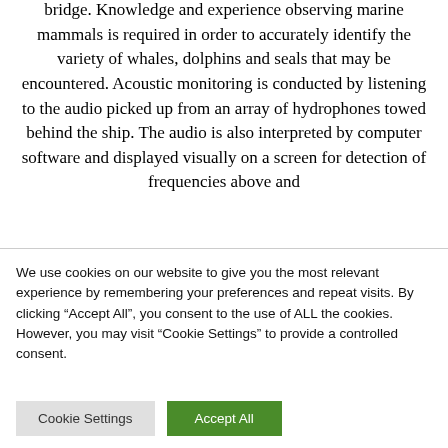bridge. Knowledge and experience observing marine mammals is required in order to accurately identify the variety of whales, dolphins and seals that may be encountered. Acoustic monitoring is conducted by listening to the audio picked up from an array of hydrophones towed behind the ship. The audio is also interpreted by computer software and displayed visually on a screen for detection of frequencies above and
We use cookies on our website to give you the most relevant experience by remembering your preferences and repeat visits. By clicking “Accept All”, you consent to the use of ALL the cookies. However, you may visit "Cookie Settings" to provide a controlled consent.